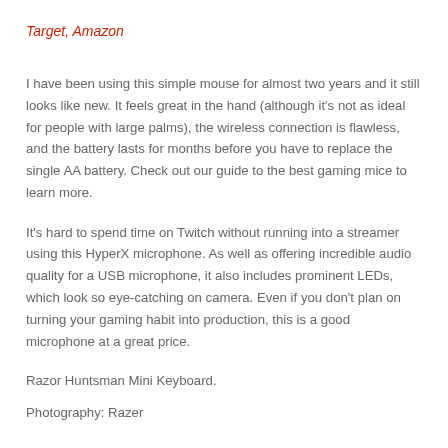Target, Amazon
I have been using this simple mouse for almost two years and it still looks like new. It feels great in the hand (although it's not as ideal for people with large palms), the wireless connection is flawless, and the battery lasts for months before you have to replace the single AA battery. Check out our guide to the best gaming mice to learn more.
It’s hard to spend time on Twitch without running into a streamer using this HyperX microphone. As well as offering incredible audio quality for a USB microphone, it also includes prominent LEDs, which look so eye-catching on camera. Even if you don’t plan on turning your gaming habit into production, this is a good microphone at a great price.
Razor Huntsman Mini Keyboard.
Photography: Razer